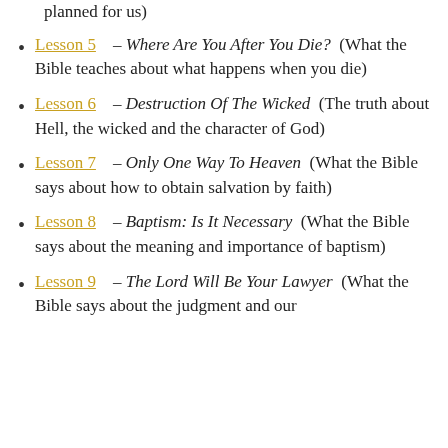planned for us)
Lesson 5 - Where Are You After You Die? (What the Bible teaches about what happens when you die)
Lesson 6 - Destruction Of The Wicked (The truth about Hell, the wicked and the character of God)
Lesson 7 - Only One Way To Heaven (What the Bible says about how to obtain salvation by faith)
Lesson 8 - Baptism: Is It Necessary (What the Bible says about the meaning and importance of baptism)
Lesson 9 - The Lord Will Be Your Lawyer (What the Bible says about the judgment and our [continued])